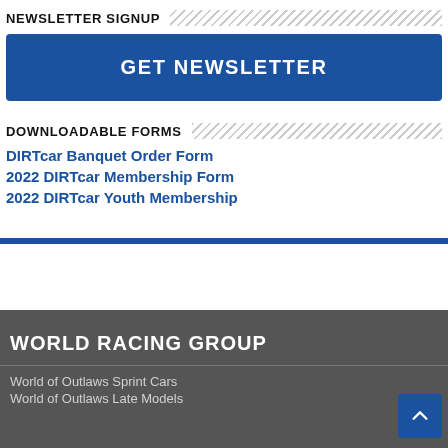NEWSLETTER SIGNUP
GET NEWSLETTER
DOWNLOADABLE FORMS
DIRTcar Banquet Order Form
2022 DIRTcar Membership Form
2022 DIRTcar Youth Membership
WORLD RACING GROUP
World of Outlaws Sprint Cars
World of Outlaws Late Models